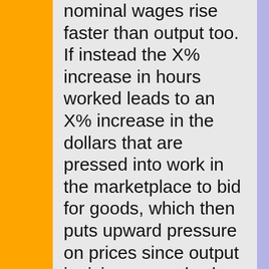nominal wages rise faster than output too. If instead the X% increase in hours worked leads to an X% increase in the dollars that are pressed into work in the marketplace to bid for goods, which then puts upward pressure on prices since output is rising more slowly, then that must be because wages are sticky. And that leads